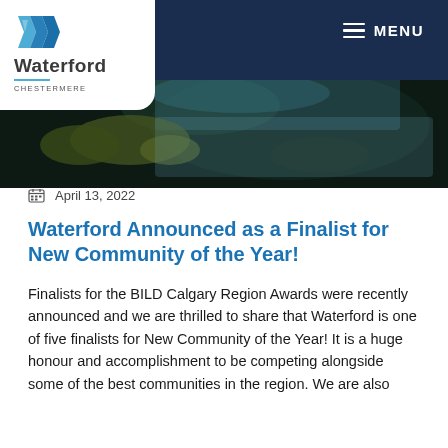[Figure (logo): Waterford Chestermere logo with stylized blue W icon and company name]
MENU
[Figure (photo): Aerial or lakeside nature photo showing dark water and rocky/mossy terrain]
April 13, 2022
Waterford Announced as a Finalist for New Community of the Year!
Finalists for the BILD Calgary Region Awards were recently announced and we are thrilled to share that Waterford is one of five finalists for New Community of the Year! It is a huge honour and accomplishment to be competing alongside some of the best communities in the region. We are also